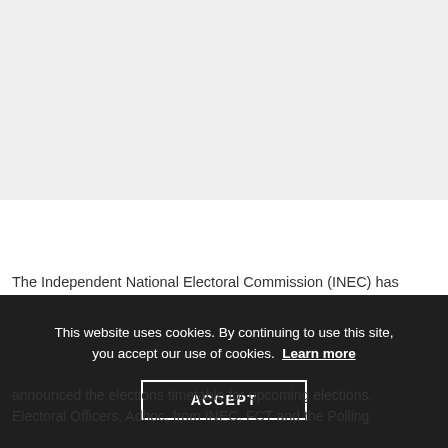[Figure (other): Gray background area representing a header/image placeholder region at the top of the page]
The Independent National Electoral Commission (INEC) has
This website uses cookies. By continuing to use this site, you accept our use of cookies. Learn more
ACCEPT
announced the election timetable for upcoming elections. Electoral officers and other related activities...